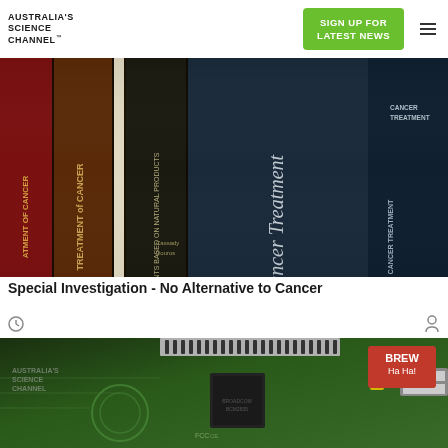AUSTRALIA'S SCIENCE CHANNEL™ | SIGN UP FOR LATEST NEWS
[Figure (photo): Close-up photo of cancer treatment book spines on a shelf including titles like 'Treatment of Cancer', 'Treatment of Cancer', 'Anticancer Agents Based on Natural Products', 'Cancer Treatment']
Special Investigation - No Alternative to Cancer
[Figure (photo): Close-up photo of a Raspberry Pi circuit board, green PCB with components visible. BREW Ha Ha! badge in top right corner. Australia's Science Channel watermark in top left.]